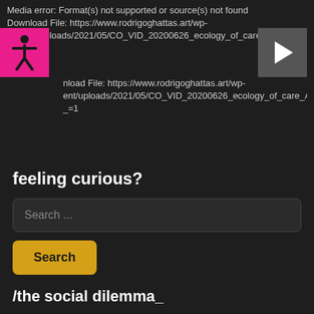Media error: Format(s) not supported or source(s) not found
Download File: https://www.rodrigoghattas.art/wp-content/uploads/2021/05/CO_VID_20200626_ecology_of_care_AdobeCreativeClou
[Figure (illustration): Magenta/pink accessibility icon with a human figure silhouette]
[Figure (illustration): Gray play button triangle icon]
nload File: https://www.rodrigoghattas.art/wp-content/uploads/2021/05/CO_VID_20200626_ecology_of_care_AdobeCreativeClou
_=1
feeling curious?
Search ...
Search
/the social dilemma_